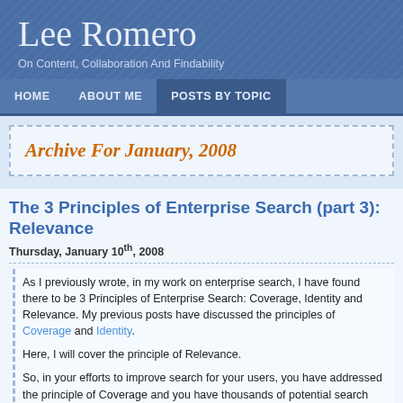Lee Romero
On Content, Collaboration And Findability
HOME   ABOUT ME   POSTS BY TOPIC
Archive For January, 2008
The 3 Principles of Enterprise Search (part 3): Relevance
Thursday, January 10th, 2008
As I previously wrote, in my work on enterprise search, I have found there to be 3 Principles of Enterprise Search: Coverage, Identity and Relevance. My previous posts have discussed the principles of Coverage and Identity.
Here, I will cover the principle of Relevance.
So, in your efforts to improve search for your users, you have addressed the principle of Coverage and you have thousands of potential search candidates in your enterprise search tool. You have addressed the principle of Identity and all of those search results display well in a search results page, clearly identifying what they are so a searcher can confidently know what an item is. Now comes the hardest of the three principles to address: Relevance.